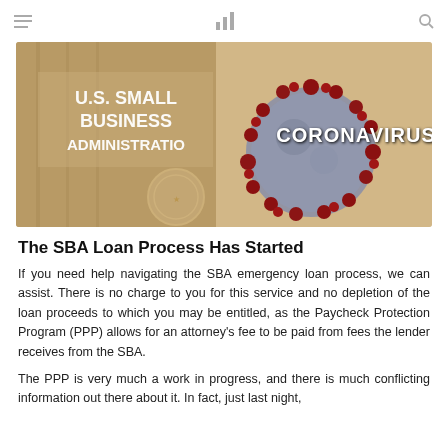navigation bar with hamburger menu, bar chart icon, and search icon
[Figure (photo): U.S. Small Business Administration building sign on the left with a 3D coronavirus particle on the right overlaid with the text 'CORONAVIRUS']
The SBA Loan Process Has Started
If you need help navigating the SBA emergency loan process, we can assist. There is no charge to you for this service and no depletion of the loan proceeds to which you may be entitled, as the Paycheck Protection Program (PPP) allows for an attorney's fee to be paid from fees the lender receives from the SBA.
The PPP is very much a work in progress, and there is much conflicting information out there about it. In fact, just last night,